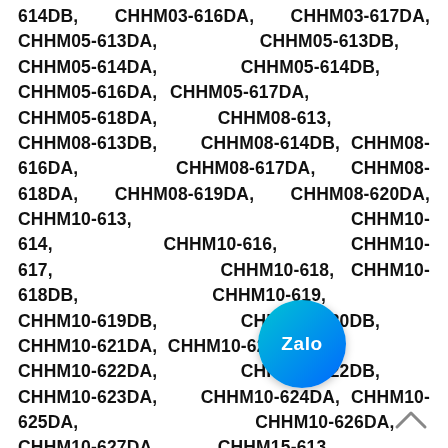614DB, CHHM03-616DA, CHHM03-617DA, CHHM05-613DA, CHHM05-613DB, CHHM05-614DA, CHHM05-614DB, CHHM05-616DA, CHHM05-617DA, CHHM05-618DA, CHHM08-613, CHHM08-613DB, CHHM08-614DB, CHHM08-616DA, CHHM08-617DA, CHHM08-618DA, CHHM08-619DA, CHHM08-620DA, CHHM10-613, CHHM10-614, CHHM10-616, CHHM10-617, CHHM10-618, CHHM10-618DB, CHHM10-619, CHHM10-619DB, CHHM10-620DB, CHHM10-621DA, CHHM10-621DB, CHHM10-622DA, CHHM10-622DB, CHHM10-623DA, CHHM10-624DA, CHHM10-625DA, CHHM10-626DA, CHHM10-627DA, CHHM15-613, CHHM15-614, CHHM15-616, CHHM15-617, CHHM15-618, CHHM15-618DB, CHHM15-619, CHHM15-619..., CHHM15-620, CHHM15-620DB, CHHM15-621, CHHM15-621DA, CHHM15-621DB, CHHM15-622DA, CHHM15-
[Figure (logo): Zalo app icon - circular gradient teal/blue button with 'Zalo' text in white]